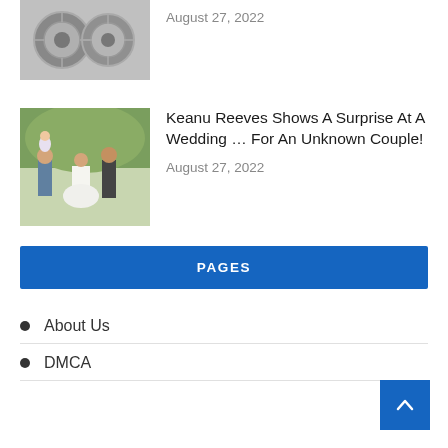[Figure (photo): Metal mechanical parts (wheels/clutch) - partial view at top of page]
August 27, 2022
[Figure (photo): Keanu Reeves standing with a wedding couple and child at a wedding]
Keanu Reeves Shows A Surprise At A Wedding … For An Unknown Couple!
August 27, 2022
PAGES
About Us
DMCA